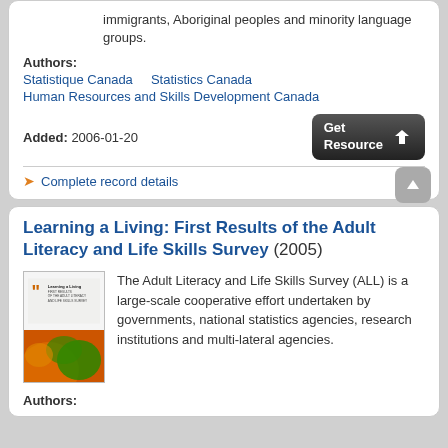immigrants, Aboriginal peoples and minority language groups.
Authors:
Statistique Canada    Statistics Canada
Human Resources and Skills Development Canada
Added: 2006-01-20
Complete record details
Learning a Living: First Results of the Adult Literacy and Life Skills Survey (2005)
[Figure (illustration): Book cover for 'Learning a Living: First Results of the Adult Literacy and Life Skills Survey' showing orange and green design with globe imagery]
The Adult Literacy and Life Skills Survey (ALL) is a large-scale cooperative effort undertaken by governments, national statistics agencies, research institutions and multi-lateral agencies.
Authors: